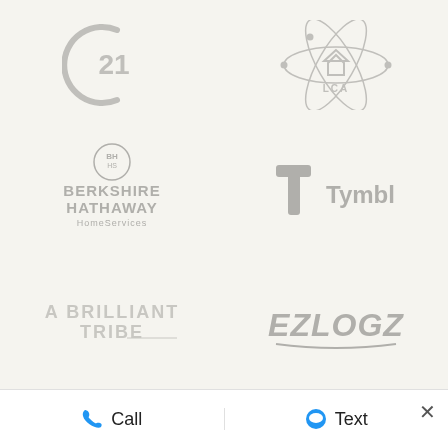[Figure (logo): Century 21 logo - circular arc with '21' text, gray]
[Figure (logo): LCA logo - atomic orbit design with house icon, gray]
[Figure (logo): Berkshire Hathaway HomeServices logo - circle emblem with text, gray]
[Figure (logo): Tymbl logo - T-shaped mark with 'Tymbl' text, gray]
[Figure (logo): A Brilliant Tribe logo - text with decorative line, gray]
[Figure (logo): EZLogz logo - stylized italic text with underline, gray]
Call   Text